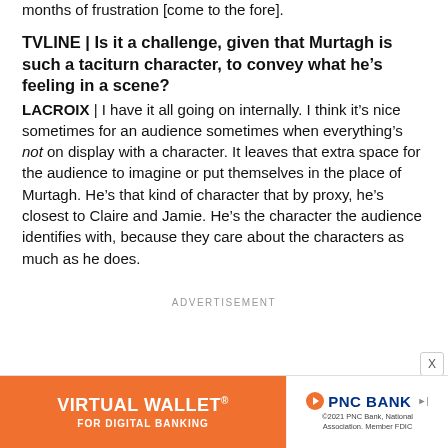months of frustration [come to the fore].
TVLINE | Is it a challenge, given that Murtagh is such a taciturn character, to convey what he's feeling in a scene?
LACROIX | I have it all going on internally. I think it's nice sometimes for an audience sometimes when everything's not on display with a character. It leaves that extra space for the audience to imagine or put themselves in the place of Murtagh. He's that kind of character that by proxy, he's closest to Claire and Jamie. He's the character the audience identifies with, because they care about the characters as much as he does.
ADVERTISEMENT
[Figure (other): PNC Bank Virtual Wallet advertisement banner with orange left panel reading VIRTUAL WALLET FOR DIGITAL BANKING and white right panel with PNC Bank logo and fine print about 2021 PNC Bank National Association Member FDIC]